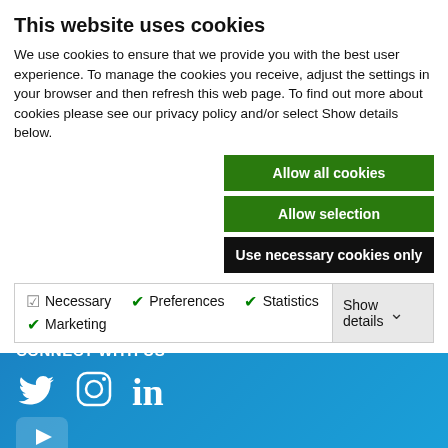This website uses cookies
We use cookies to ensure that we provide you with the best user experience.  To manage the cookies you receive, adjust the settings in your browser and then refresh this web page.  To find out more about cookies please see our privacy policy and/or select Show details below.
Allow all cookies
Allow selection
Use necessary cookies only
Necessary  Preferences  Statistics  Marketing  Show details
PRODUCTS
SOLUTIONS
CONTACT
CONNECT WITH US
TERMS &
CONDITIONS
[Figure (infographic): Social media icons: Twitter, Instagram, LinkedIn, YouTube on blue footer background]